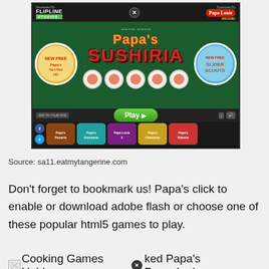[Figure (screenshot): Screenshot of Papa's Sushiria flash game on Flipline Studios / Papa Louie Arcade, showing the game title screen with play button and other game thumbnails at the bottom]
Source: sa11.eatmytangerine.com
Don't forget to bookmark us! Papa's click to enable or download adobe flash or choose one of these popular html5 games to play.
Cooking Games Unblocked Papa's Pancakeria